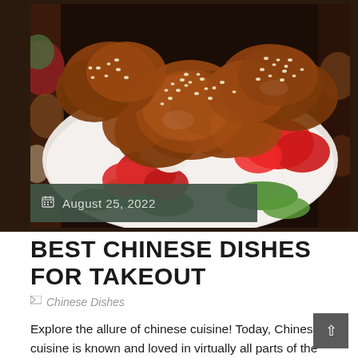[Figure (photo): Close-up photo of Chinese sweet and sour chicken or General Tso's chicken with sesame seeds, red and green bell peppers on a white plate, with dark red-brown sauce. Background shows other dishes on a dark table.]
August 25, 2022
BEST CHINESE DISHES FOR TAKEOUT
Chinese Dishes
Explore the allure of chinese cuisine! Today, Chinese cuisine is known and loved in virtually all parts of the world. Its origins, albeit disputed, are said to go back to over a thousand years, and were shaped by both